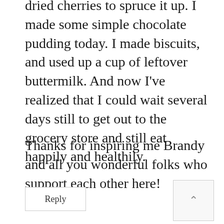dried cherries to spruce it up. I made some simple chocolate pudding today. I made biscuits, and used up a cup of leftover buttermilk. And now I've realized that I could wait several days still to get out to the grocery store and still eat happily and healthily.
Thanks for inspiring me Brandy and all you wonderful folks who support each other here!